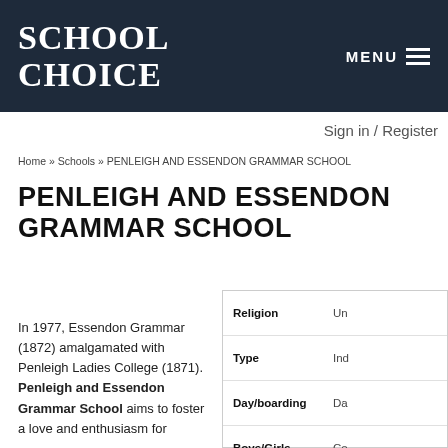SCHOOL CHOICE
Sign in / Register
Home » Schools » PENLEIGH AND ESSENDON GRAMMAR SCHOOL
PENLEIGH AND ESSENDON GRAMMAR SCHOOL
| Field | Value |
| --- | --- |
| Religion | Un… |
| Type | Ind… |
| Day/boarding | Da… |
| Boys/Girls | Co… |
| Years | Ki… |
In 1977, Essendon Grammar (1872) amalgamated with Penleigh Ladies College (1871). Penleigh and Essendon Grammar School aims to foster a love and enthusiasm for